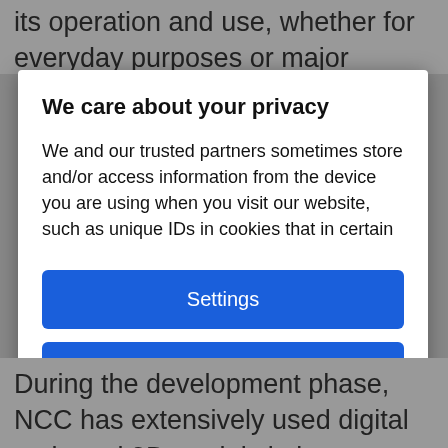its operation and use, whether for everyday purposes or major competitions. We are pleased with the
We care about your privacy
We and our trusted partners sometimes store and/or access information from the device you are using when you visit our website, such as unique IDs in cookies that in certain cases may constitute personal data. You can accept or manage your choices by clicking below or at any time on the page with the privacy notice. These
Settings
Accept all
During the development phase, NCC has extensively used digital tools and 3D models in its communication